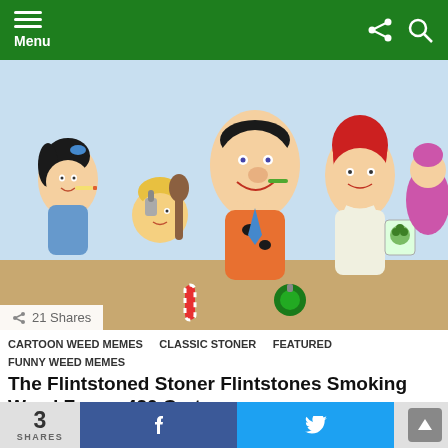Menu
[Figure (illustration): Cartoon illustration of Flintstones characters (Betty, Bamm-Bamm, Fred, Wilma) in a humorous parody image with smoking paraphernalia and cannabis references.]
21 Shares
CARTOON WEED MEMES   CLASSIC STONER   FEATURED   FUNNY WEED MEMES
The Flintstoned Stoner Flintstones Smoking Weed Funny 420 Cartoons
[Figure (screenshot): Promotional banner with fire icon, weed emoji, and text 'HOW HAS THE CORONAVIRUS AFFECTED STONERS...' with blurred article preview images below.]
3 SHARES   f   (Twitter bird)   ...